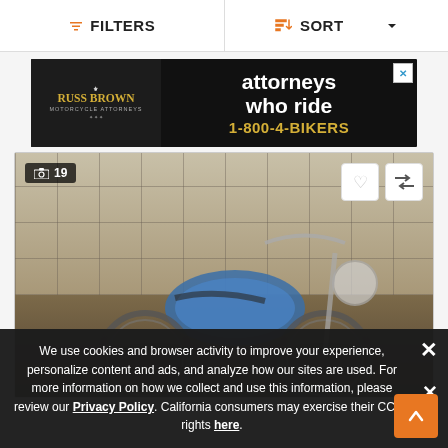FILTERS  SORT
[Figure (photo): Russ Brown Motorcycle Attorneys advertisement banner: dark background with eagle logo, text 'attorneys who ride' and phone number '1-800-4-BIKERS']
[Figure (photo): Blue Harley-Davidson motorcycle displayed in showroom with wall of black and white photos in the background. Photo count badge shows 19 photos. Heart and compare action buttons visible.]
We use cookies and browser activity to improve your experience, personalize content and ads, and analyze how our sites are used. For more information on how we collect and use this information, please review our Privacy Policy. California consumers may exercise their CCPA rights here.